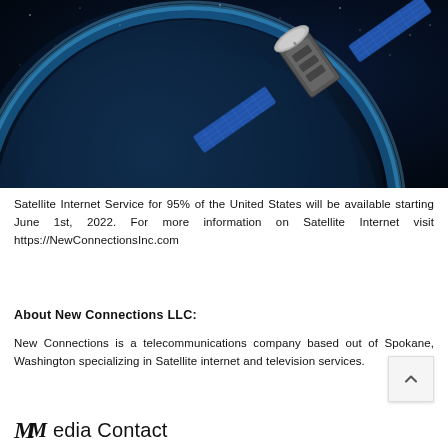[Figure (photo): A satellite in outer space with solar panels extended, orbiting Earth. A large planet is visible in the background with a glowing blue atmosphere. The image has a dark blue space background.]
Satellite Internet Service for 95% of the United States will be available starting June 1st, 2022. For more information on Satellite Internet visit https://NewConnectionsInc.com
About New Connections LLC:
New Connections is a telecommunications company based out of Spokane, Washington specializing in Satellite internet and television services.
Media Contact